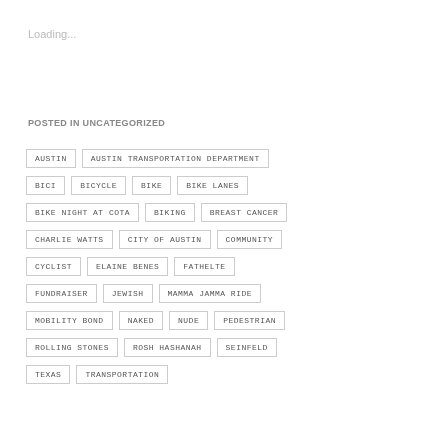Loading...
POSTED IN UNCATEGORIZED
AUSTIN
AUSTIN TRANSPORTATION DEPARTMENT
BICI
BICYCLE
BIKE
BIKE LANES
BIKE NIGHT AT COTA
BIKING
BREAST CANCER
CHARLIE WATTS
CITY OF AUSTIN
COMMUNITY
CYCLIST
ELAINE BENES
FATHELTE
FUNDRAISER
JEWISH
MAMMA JAMMA RIDE
MOBILITY BOND
NAKED
NUDE
PEDESTRIAN
ROLLING STONES
ROSH HASHANAH
SEINFELD
TEXAS
TRANSPORTATION